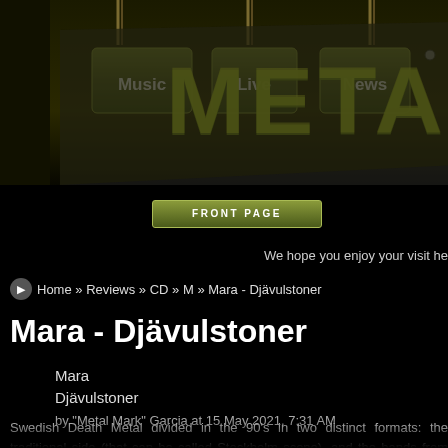[Figure (screenshot): Metal website header banner with chain-hung navigation tabs labeled Music, Live, News, and a large META logo text on dark olive/black textured background]
FRONT PAGE
We hope you enjoy your visit he
Home » Reviews » CD » M » Mara - Djävulstoner
Mara - Djävulstoner
Mara
Djävulstoner
by "Metal Mark" Garcia at 15 May 2021, 7:31 AM
Swedish Death Metal divided in the 90's in two distinct formats: the traditional side (that can be called Stockholm scene), and the bands from Gothenburg, as known of Melodic Death Metal. And many bands were influenced by both ways So